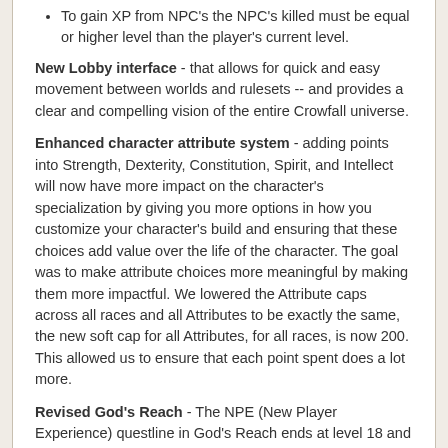To gain XP from NPC's the NPC's killed must be equal or higher level than the player's current level.
New Lobby interface - that allows for quick and easy movement between worlds and rulesets -- and provides a clear and compelling vision of the entire Crowfall universe.
Enhanced character attribute system - adding points into Strength, Dexterity, Constitution, Spirit, and Intellect will now have more impact on the character's specialization by giving you more options in how you customize your character's build and ensuring that these choices add value over the life of the character. The goal was to make attribute choices more meaningful by making them more impactful. We lowered the Attribute caps across all races and all Attributes to be exactly the same, the new soft cap for all Attributes, for all races, is now 200. This allowed us to ensure that each point spent does a lot more.
Revised God's Reach - The NPE (New Player Experience) questline in God's Reach ends at level 18 and directs the player to the Infected Campaign.
Revised Infected Map - This map is now optimized to be a